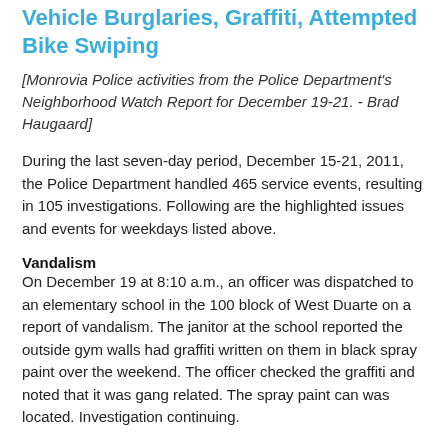Vehicle Burglaries, Graffiti, Attempted Bike Swiping
[Monrovia Police activities from the Police Department's Neighborhood Watch Report for December 19-21. - Brad Haugaard]
During the last seven-day period, December 15-21, 2011, the Police Department handled 465 service events, resulting in 105 investigations.  Following are the highlighted issues and events for weekdays listed above.
Vandalism
On December 19 at 8:10 a.m., an officer was dispatched to an elementary school in the 100 block of West Duarte on a report of vandalism.  The janitor at the school reported the outside gym walls had graffiti written on them in black spray paint over the weekend.  The officer checked the graffiti and noted that it was gang related.  The spray paint can was located.  Investigation continuing.